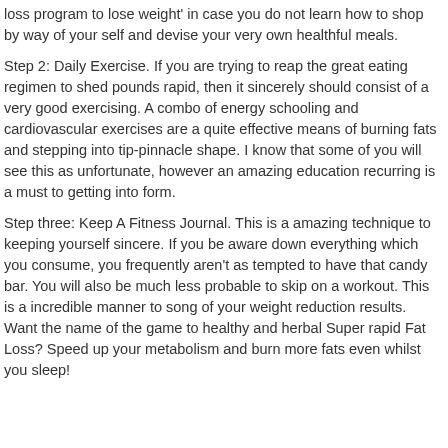loss program to lose weight' in case you do not learn how to shop by way of your self and devise your very own healthful meals.
Step 2: Daily Exercise. If you are trying to reap the great eating regimen to shed pounds rapid, then it sincerely should consist of a very good exercising. A combo of energy schooling and cardiovascular exercises are a quite effective means of burning fats and stepping into tip-pinnacle shape. I know that some of you will see this as unfortunate, however an amazing education recurring is a must to getting into form.
Step three: Keep A Fitness Journal. This is a amazing technique to keeping yourself sincere. If you be aware down everything which you consume, you frequently aren't as tempted to have that candy bar. You will also be much less probable to skip on a workout. This is a incredible manner to song of your weight reduction results. Want the name of the game to healthy and herbal Super rapid Fat Loss? Speed up your metabolism and burn more fats even whilst you sleep!